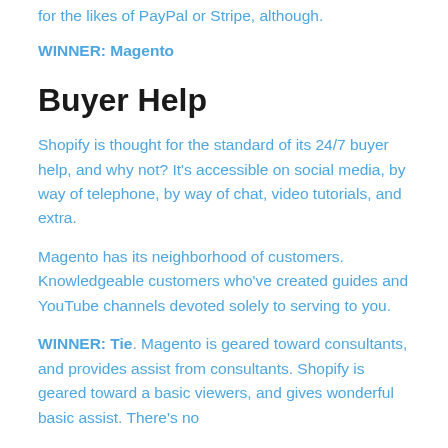for the likes of PayPal or Stripe, although.
WINNER: Magento
Buyer Help
Shopify is thought for the standard of its 24/7 buyer help, and why not? It's accessible on social media, by way of telephone, by way of chat, video tutorials, and extra.
Magento has its neighborhood of customers. Knowledgeable customers who've created guides and YouTube channels devoted solely to serving to you.
WINNER: Tie. Magento is geared toward consultants, and provides assist from consultants. Shopify is geared toward a basic viewers, and gives wonderful basic assist. There's no